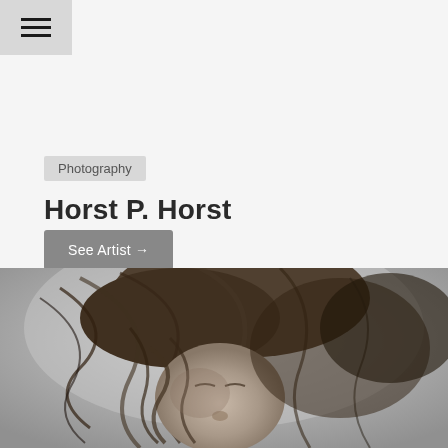[Figure (other): Hamburger menu icon button in top-left corner with gray background]
Photography
Horst P. Horst
See Artist →
[Figure (photo): Black and white close-up photograph of a woman with windswept hair covering her face, eyes closed, captured in dramatic motion]